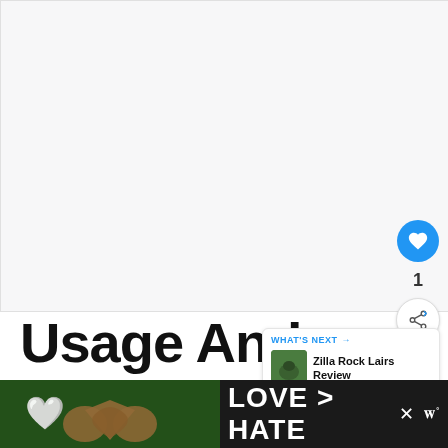[Figure (screenshot): Large blank/empty whitespace area representing top content area of a webpage]
[Figure (infographic): Side UI buttons: blue heart/like button showing count 1, and a share button]
[Figure (infographic): What's Next card with thumbnail showing Zilla Rock Lairs Review]
Usage And
Maintenance
[Figure (infographic): Advertisement banner at bottom: hands forming heart shape image, text LOVE > HATE with close X button and logo]